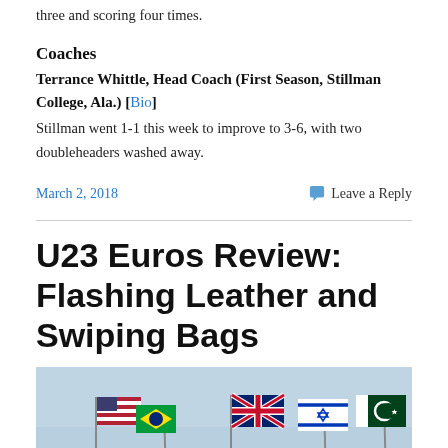three and scoring four times.
Coaches
Terrance Whittle, Head Coach (First Season, Stillman College, Ala.) [Bio]
Stillman went 1-1 this week to improve to 3-6, with two doubleheaders washed away.
March 2, 2018    Leave a Reply
U23 Euros Review: Flashing Leather and Swiping Bags
[Figure (photo): Photograph of multiple national flags (USA, Brazil, UK, Israel, Pakistan and others) flying on poles against a light blue sky.]